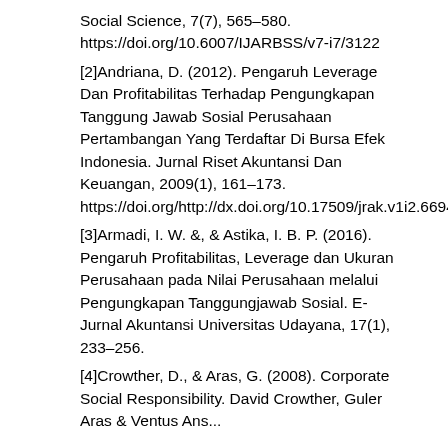Social Science, 7(7), 565–580. https://doi.org/10.6007/IJARBSS/v7-i7/3122
[2]Andriana, D. (2012). Pengaruh Leverage Dan Profitabilitas Terhadap Pengungkapan Tanggung Jawab Sosial Perusahaan Pertambangan Yang Terdaftar Di Bursa Efek Indonesia. Jurnal Riset Akuntansi Dan Keuangan, 2009(1), 161–173. https://doi.org/http://dx.doi.org/10.17509/jrak.v1i2.6694
[3]Armadi, I. W. &, & Astika, I. B. P. (2016). Pengaruh Profitabilitas, Leverage dan Ukuran Perusahaan pada Nilai Perusahaan melalui Pengungkapan Tanggungjawab Sosial. E-Jurnal Akuntansi Universitas Udayana, 17(1), 233–256.
[4]Crowther, D., & Aras, G. (2008). Corporate Social Responsibility. David Crowther, Guler Aras & Ventus Ans...